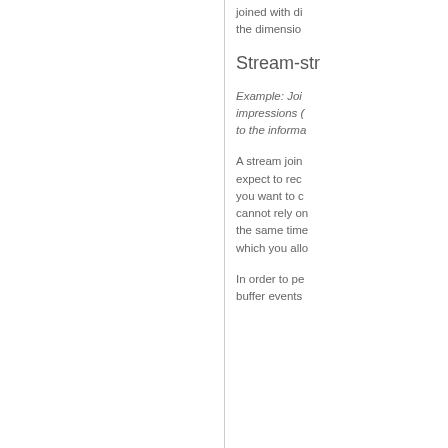joined with dimension tables, or the dimension
Stream-str
Example: Joi impressions ( to the informa
A stream join expect to rec you want to c cannot rely on the same time which you allo
In order to pe buffer events